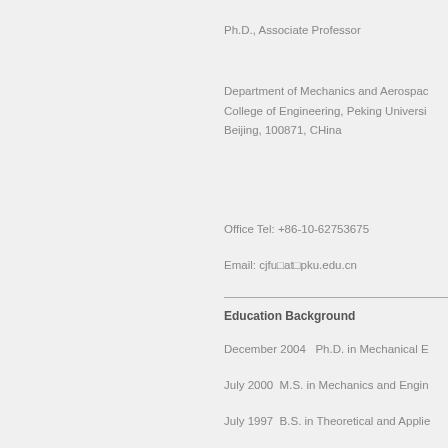Ph.D., Associate Professor
Department of Mechanics and Aerospace
College of Engineering, Peking University
Beijing, 100871, CHina
Office Tel: +86-10-62753675
Email: cjfu□at□pku.edu.cn
Education Background
December 2004   Ph.D. in Mechanical E
July 2000  M.S. in Mechanics and Engin
July 1997  B.S. in Theoretical and Applie
Professional Experience
Aug.2007-present  Associate Professor,
Oct.2005-July.2007  Lecturer, Dept. of M